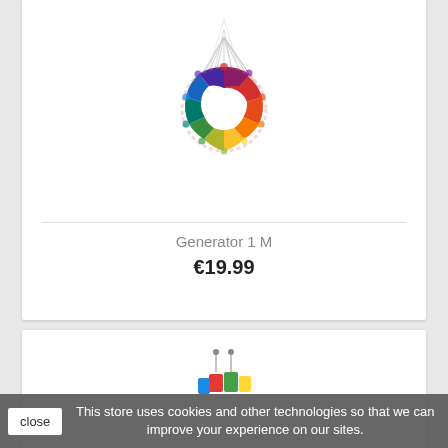[Figure (photo): Rainbow colored ring kite (Generator 1 M) with strings radiating upward from the ring, displayed on white background]
Generator 1 M
€19.99
[Figure (photo): Partial view of another colorful kite product at the bottom of the page]
This store uses cookies and other technologies so that we can improve your experience on our sites.